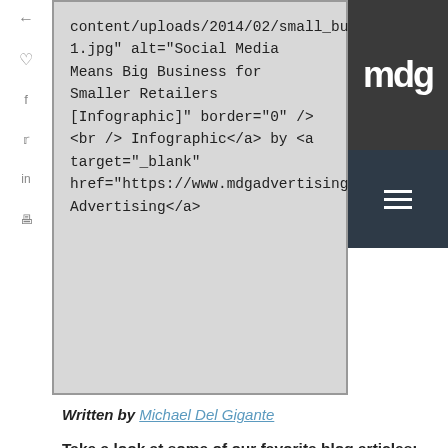content/uploads/2014/02/small_business_success1.jpg" alt="Social Media Means Big Business for Smaller Retailers [Infographic]" border="0" />
<br /> Infographic</a> by <a target="_blank" href="https://www.mdgadvertising.com">MDG Advertising</a>
[Figure (logo): MDG Advertising logo - dark grey block with white letters 'mdg' and dark teal block with hamburger menu icon below]
Written by Michael Del Gigante
Take a look at some of our favorite blog articles:
Social Media is Good Medicine for Healthcare Marketing
Google Outlines Three Online Advertising Trends
Print Advertising is Dead? Not So Fast.
5 Messaging Strategies of Successful Branding Firms